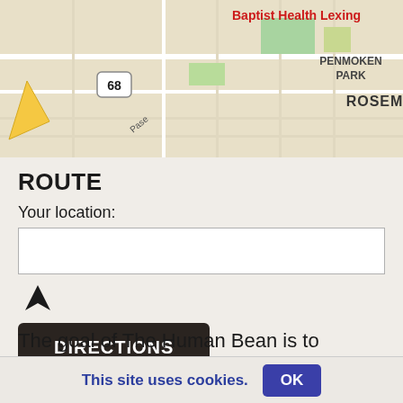[Figure (map): Google Maps screenshot showing Rosemill and Penmoken Park areas, with route 68 marker, Baptist Health Lexing label in red, and street grid with green park areas]
ROUTE
Your location:
[Figure (other): Location/navigation arrow icon]
DIRECTIONS
The goal of The Human Bean is to affiliate with determined and positive individuals who are committed to developing the best drive-thru espresso brand.
This site uses cookies.  OK